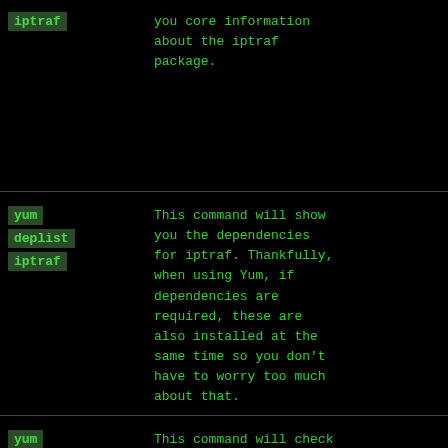| Command | Description |
| --- | --- |
| iptraf | you core information about the iptraf package. |
| yum deplist iptraf | This command will show you the dependencies for iptraf. Thankfully, when using Yum, if dependencies are required, these are also installed at the same time so you don't have to worry too much about that. |
| yum | This command will check |